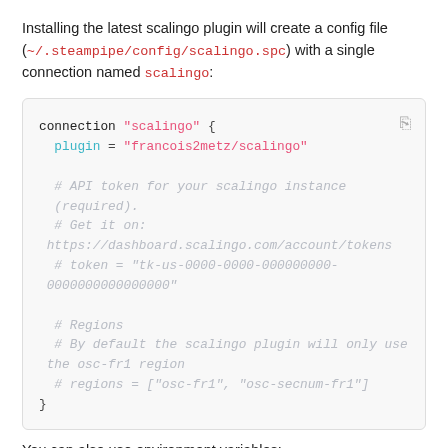Installing the latest scalingo plugin will create a config file (~/.steampipe/config/scalingo.spc) with a single connection named scalingo:
connection "scalingo" {
  plugin = "francois2metz/scalingo"

  # API token for your scalingo instance (required).
  # Get it on:
  # https://dashboard.scalingo.com/account/tokens
  # token = "tk-us-0000-0000-000000000-0000000000000000"

  # Regions
  # By default the scalingo plugin will only use the osc-fr1 region
  # regions = ["osc-fr1", "osc-secnum-fr1"]
}
You can also use environment variables: